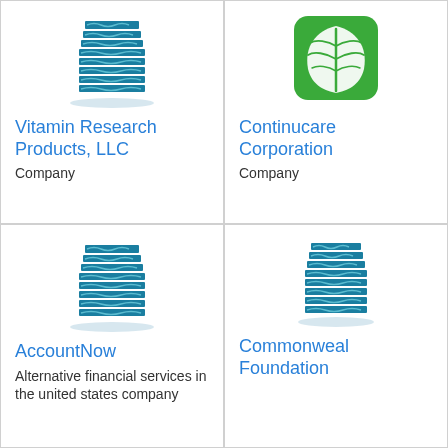[Figure (logo): Blue corporate building icon for Vitamin Research Products, LLC]
Vitamin Research Products, LLC
Company
[Figure (logo): Green leaf icon on green rounded rectangle background for Continucare Corporation]
Continucare Corporation
Company
[Figure (logo): Blue corporate building icon for AccountNow]
AccountNow
Alternative financial services in the united states company
[Figure (logo): Blue corporate building icon for Commonweal Foundation]
Commonweal Foundation